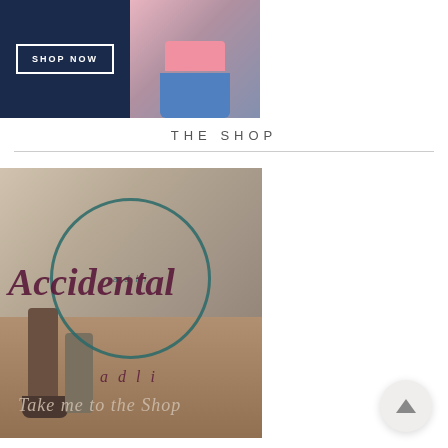[Figure (photo): Dark navy banner with 'SHOP NOW' button and a photo of a person wearing pink top and blue denim skirt]
THE SHOP
[Figure (photo): Cafe interior background image with a circular logo overlay reading 'Accidental' in script, with 'ad li' text, and 'Take me to the Shop' tagline at the bottom]
[Figure (illustration): Back to top arrow button, circular grey button with upward chevron]